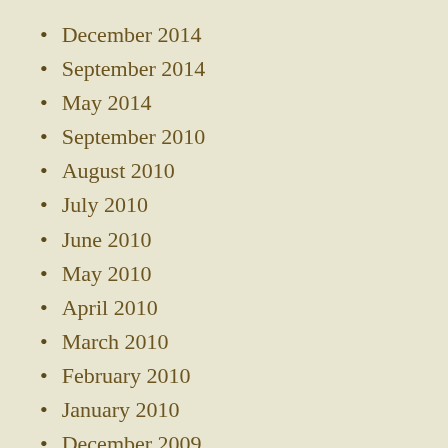December 2014
September 2014
May 2014
September 2010
August 2010
July 2010
June 2010
May 2010
April 2010
March 2010
February 2010
January 2010
December 2009
November 2009
October 2009
September 2009